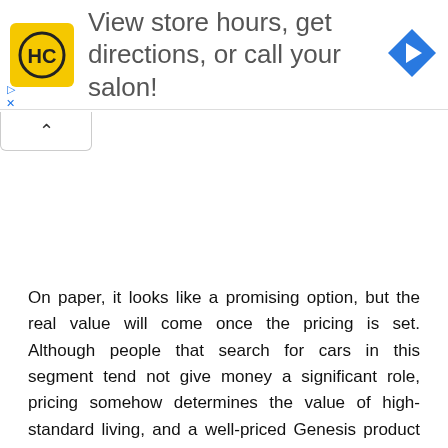[Figure (infographic): Advertisement banner: HC logo (yellow square with black circle and HC letters), text 'View store hours, get directions, or call your salon!', and a blue diamond navigation arrow icon on the right]
On paper, it looks like a promising option, but the real value will come once the pricing is set. Although people that search for cars in this segment tend not give money a significant role, pricing somehow determines the value of high-standard living, and a well-priced Genesis product can make his way to compete with the Germans.